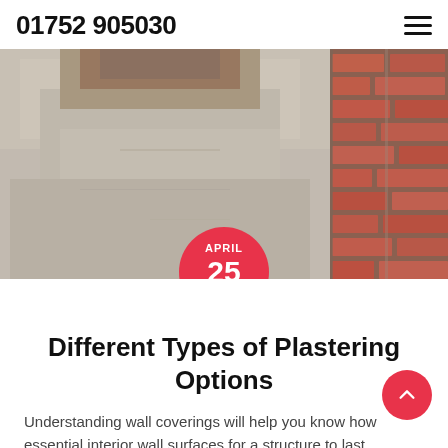01752 905030
[Figure (photo): Close-up photograph of a plastered wall surface showing rough grey cement plaster on the left and exposed red brick masonry on the right, with peeling and damaged areas visible at the top.]
APRIL 25 2019
Different Types of Plastering Options
Understanding wall coverings will help you know how essential interior wall surfaces for a structure to last